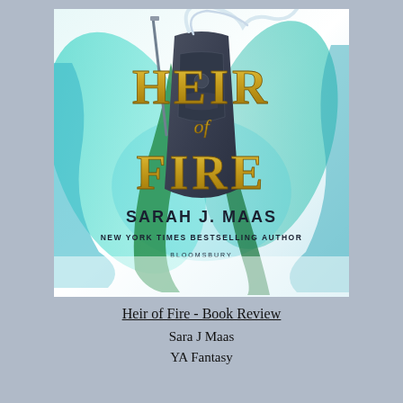[Figure (illustration): Book cover of 'Heir of Fire' by Sarah J. Maas. Features a fantasy warrior figure in ornate dark armor with a green sash, set against swirling teal and blue smoke/flame background. Title 'HEIR of FIRE' displayed in large gold lettering. Below: 'SARAH J. MAAS', 'NEW YORK TIMES BESTSELLING AUTHOR', 'BLOOMSBURY'.]
Heir of Fire - Book Review
Sara J Maas
YA Fantasy